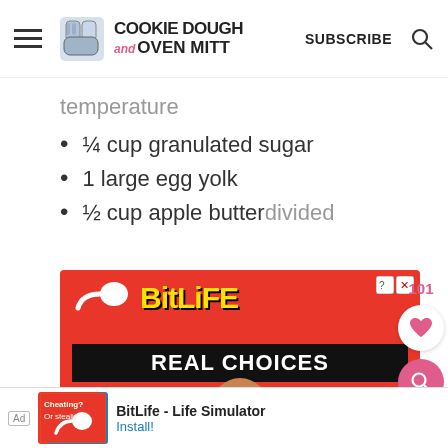Cookie Dough and Oven Mitt | SUBSCRIBE
temperature
¼ cup granulated sugar
1 large egg yolk
½ cup apple butter divided
[Figure (screenshot): BitLife - Real Choices advertisement banner with red background, yellow BitLife logo text, black 'REAL CHOICES' bar, and cartoon emoji characters]
[Figure (other): BitLife - Life Simulator bottom app install advertisement bar]